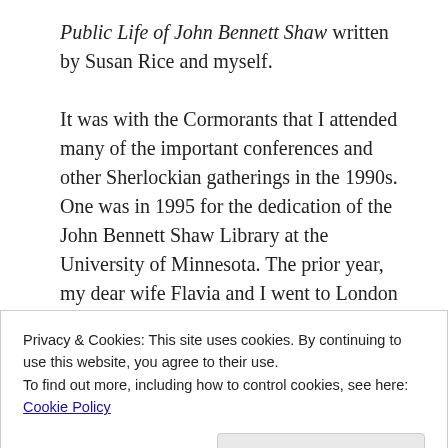Public Life of John Bennett Shaw written by Susan Rice and myself.
It was with the Cormorants that I attended many of the important conferences and other Sherlockian gatherings in the 1990s. One was in 1995 for the dedication of the John Bennett Shaw Library at the University of Minnesota. The prior year, my dear wife Flavia and I went to London for the Back to Baker Street Festival where I met and friended Dame Jean Conan Doyle, who was Conan Doyle's daughter and the last of the Conan Doyle descendants. This, I would add, was one of the great
Privacy & Cookies: This site uses cookies. By continuing to use this website, you agree to their use.
To find out more, including how to control cookies, see here: Cookie Policy
surprises of my life, was my introduction by Michael